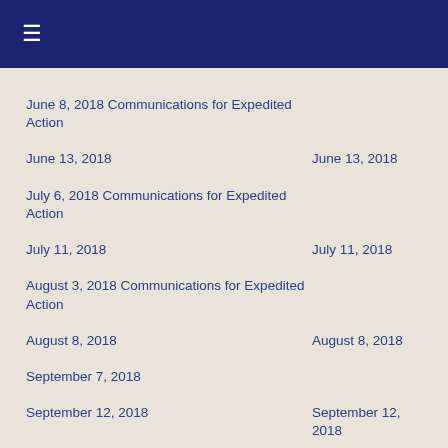☰
June 8, 2018 Communications for Expedited Action
June 13, 2018
June 13, 2018
July 6, 2018 Communications for Expedited Action
July 11, 2018
July 11, 2018
August 3, 2018 Communications for Expedited Action
August 8, 2018
August 8, 2018
September 7, 2018
September 12, 2018
September 12, 2018